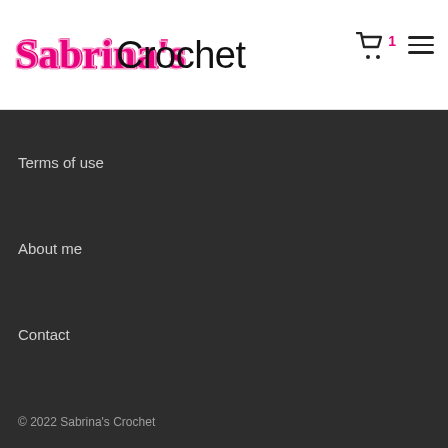Sabrina's Crochet — navigation header with cart icon (1) and hamburger menu
Terms of use
About me
Contact
© 2022 Sabrina's Crochet